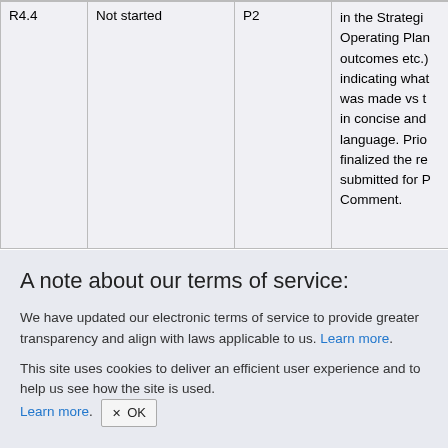| R4.4 | Not started | P2 | in the Strategic Operating Plan outcomes etc.) indicating what was made vs t in concise and language. Prio finalized the re submitted for P Comment. |
A note about our terms of service:
We have updated our electronic terms of service to provide greater transparency and align with laws applicable to us. Learn more.
This site uses cookies to deliver an efficient user experience and to help us see how the site is used. Learn more. OK